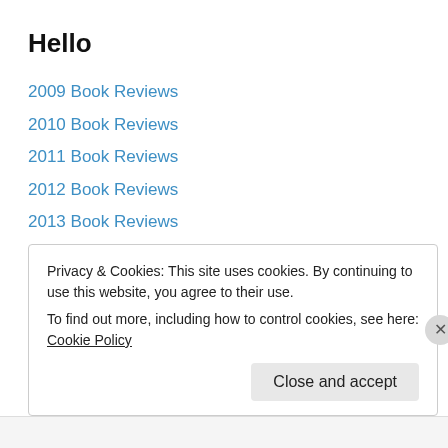Hello
2009 Book Reviews
2010 Book Reviews
2011 Book Reviews
2012 Book Reviews
2013 Book Reviews
2014 Book Reviews
2015 Book Reviews
2016 Book Reviews
About
Author List
Privacy & Cookies: This site uses cookies. By continuing to use this website, you agree to their use.
To find out more, including how to control cookies, see here: Cookie Policy
Close and accept